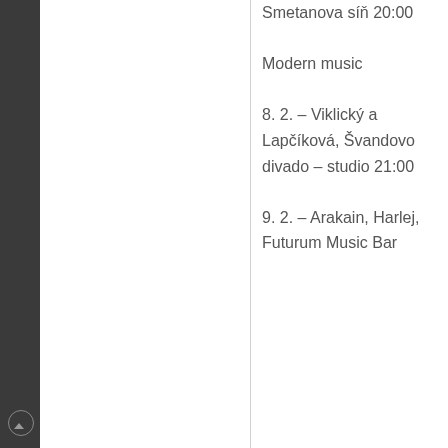Smetanova síň 20:00

Modern music
8. 2. – Viklický a Lapčíková, Švandovo divado – studio 21:00
9. 2. – Arakain, Harlej, Futurum Music Bar